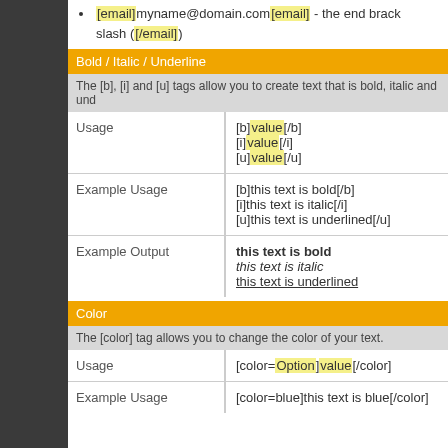[email]myname@domain.com[email] - the end bracket needs a slash ([/email])
Bold / Italic / Underline
The [b], [i] and [u] tags allow you to create text that is bold, italic and underlined.
|  |  |
| --- | --- |
| Usage | [b]value[/b]
[i]value[/i]
[u]value[/u] |
| Example Usage | [b]this text is bold[/b]
[i]this text is italic[/i]
[u]this text is underlined[/u] |
| Example Output | this text is bold
this text is italic
this text is underlined |
Color
The [color] tag allows you to change the color of your text.
|  |  |
| --- | --- |
| Usage | [color=Option]value[/color] |
| Example Usage | [color=blue]this text is blue[/color] |